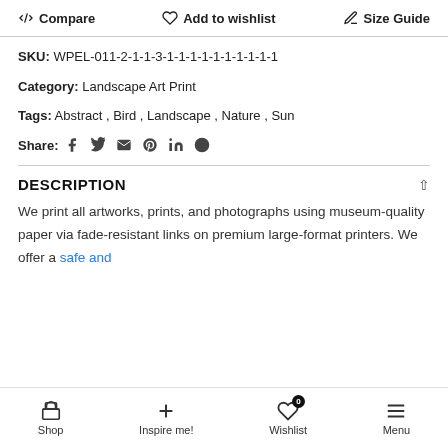Compare  Add to wishlist  Size Guide
SKU: WPEL-011-2-1-1-3-1-1-1-1-1-1-1-1-1-1
Category: Landscape Art Print
Tags: Abstract, Bird, Landscape, Nature, Sun
Share: [social icons]
DESCRIPTION
We print all artworks, prints, and photographs using museum-quality paper via fade-resistant links on premium large-format printers. We offer a safe and ...